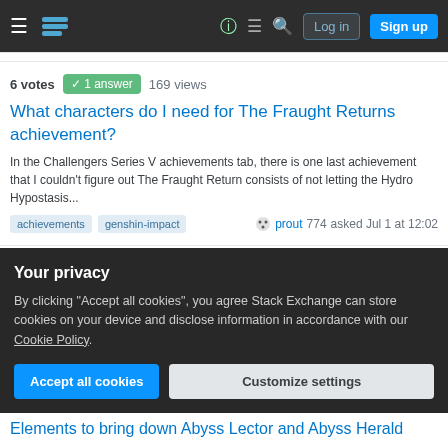Stack Exchange navigation bar with Log in and Sign up buttons
6 votes · 1 answer · 169 views
What characters do I need for The Fraught Returns achievement?
In the Challengers Series V achievements tab, there is one last achievement that I couldn't figure out The Fraught Return consists of not letting the Hydro Hypostasis...
achievements   genshin-impact   prout 774 asked Jul 1 at 12:02
1 vote  0 answers  53 views
Severe Genshin Impact key delay
Your privacy
By clicking "Accept all cookies", you agree Stack Exchange can store cookies on your device and disclose information in accordance with our Cookie Policy.
Accept all cookies   Customize settings
Elements to bring down Abyss Lector and Abyss Herald